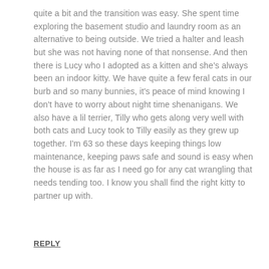quite a bit and the transition was easy. She spent time exploring the basement studio and laundry room as an alternative to being outside. We tried a halter and leash but she was not having none of that nonsense. And then there is Lucy who I adopted as a kitten and she's always been an indoor kitty. We have quite a few feral cats in our burb and so many bunnies, it's peace of mind knowing I don't have to worry about night time shenanigans. We also have a lil terrier, Tilly who gets along very well with both cats and Lucy took to Tilly easily as they grew up together. I'm 63 so these days keeping things low maintenance, keeping paws safe and sound is easy when the house is as far as I need go for any cat wrangling that needs tending too. I know you shall find the right kitty to partner up with.
REPLY